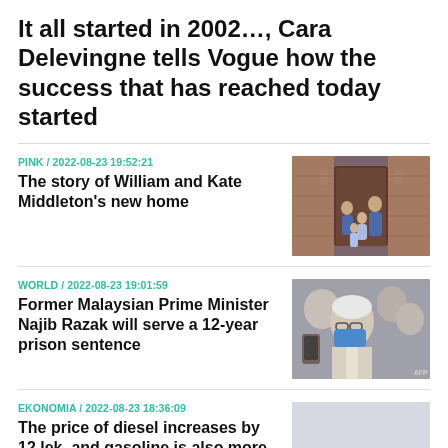It all started in 2002…, Cara Delevingne tells Vogue how the success that has reached today started
PINK / 2022-08-23 19:52:21
The story of William and Kate Middleton's new home
[Figure (photo): Photo of William, Kate Middleton and their children standing at the doorway of a brick home]
WORLD / 2022-08-23 19:01:59
Former Malaysian Prime Minister Najib Razak will serve a 12-year prison sentence
[Figure (photo): Photo of former Malaysian Prime Minister Najib Razak wearing a mask, surrounded by people]
EKONOMIA / 2022-08-23 18:36:09
The price of diesel increases by 12 lek, and gasoline is also more
[Figure (photo): Partial photo (light gray/white, partially visible)]